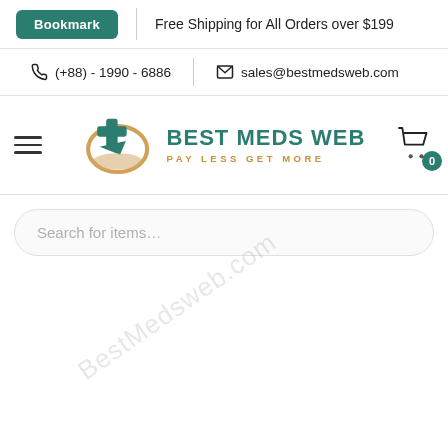Bookmark | Free Shipping for All Orders over $199
(+88) - 1990 - 6886 | sales@bestmedsweb.com
[Figure (logo): Best Meds Web logo with teal medical cross and arrow icon, teal bold text BEST MEDS WEB, gold tagline PAY LESS GET MORE, with diagonal watermark BestMedsweb.com]
Search for items...